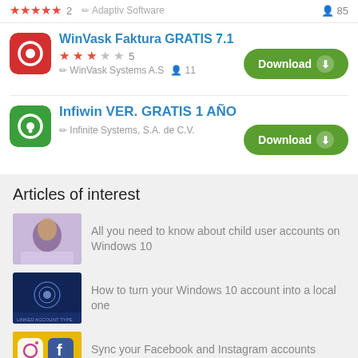★★★★★ 2  Adaptiv Software  👤 85
[Figure (screenshot): WinVask Faktura GRATIS 7.1 app icon - red square with white camera/lens symbol]
WinVask Faktura GRATIS 7.1
★★★☆☆ 5  WinVask Systems A.S  👤 11
Download
[Figure (screenshot): Infiwin VER. GRATIS 1 AÑO app icon - green square with white circle/lens symbol]
Infiwin VER. GRATIS 1 AÑO
Infinite Systems, S.A. de C.V.
Download
Articles of interest
All you need to know about child user accounts on Windows 10
How to turn your Windows 10 account into a local one
Sync your Facebook and Instagram accounts today!